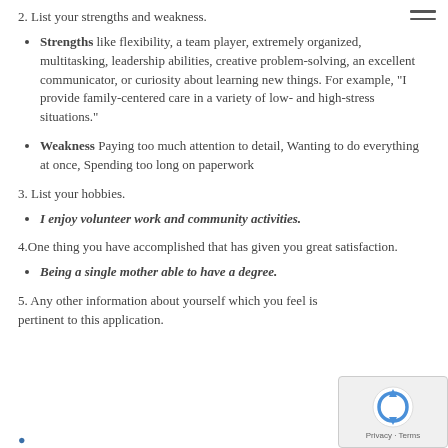2. List your strengths and weakness.
Strengths like flexibility, a team player, extremely organized, multitasking, leadership abilities, creative problem-solving, an excellent communicator, or curiosity about learning new things. For example, "I provide family-centered care in a variety of low- and high-stress situations."
Weakness Paying too much attention to detail, Wanting to do everything at once, Spending too long on paperwork
3. List your hobbies.
I enjoy volunteer work and community activities.
4.One thing you have accomplished that has given you great satisfaction.
Being a single mother able to have a degree.
5. Any other information about yourself which you feel is pertinent to this application.